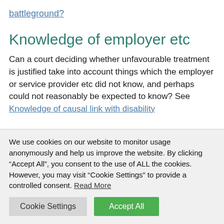battleground?
Knowledge of employer etc
Can a court deciding whether unfavourable treatment is justified take into account things which the employer or service provider etc did not know, and perhaps could not reasonably be expected to know? See Knowledge of causal link with disability
We use cookies on our website to monitor usage anonymously and help us improve the website. By clicking “Accept All”, you consent to the use of ALL the cookies. However, you may visit "Cookie Settings" to provide a controlled consent. Read More
Cookie Settings
Accept All